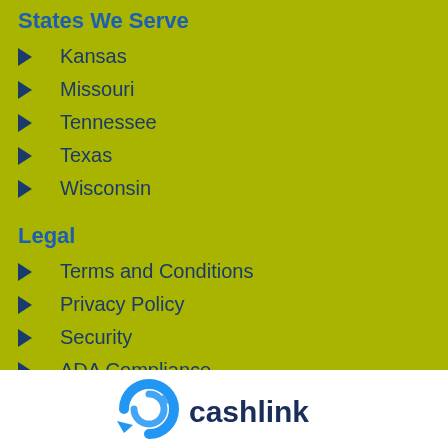States We Serve
Kansas
Missouri
Tennessee
Texas
Wisconsin
Legal
Terms and Conditions
Privacy Policy
Security
ADA Compliance
[Figure (logo): GoCashLink logo — blue circular arrow icon with dark blue text 'cashlink']